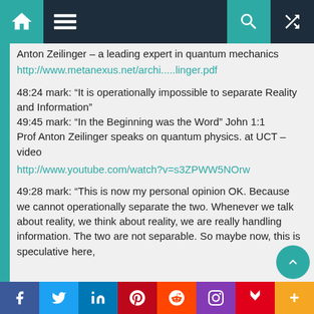Navigation bar with home, menu, search, shuffle icons
Anton Zeilinger – a leading expert in quantum mechanics
http://www.metanexus.net/archi.....linger.pdf
48:24 mark: “It is operationally impossible to separate Reality and Information”
49:45 mark: “In the Beginning was the Word” John 1:1
Prof Anton Zeilinger speaks on quantum physics. at UCT – video
http://www.youtube.com/watch?v=s3ZPWW5NOrw
49:28 mark: “This is now my personal opinion OK. Because we cannot operationally separate the two. Whenever we talk about reality, we think about reality, we are really handling information. The two are not separable. So maybe now, this is speculative here,
f  Twitter  in  Pinterest  Reddit  Instagram  Flipboard  +